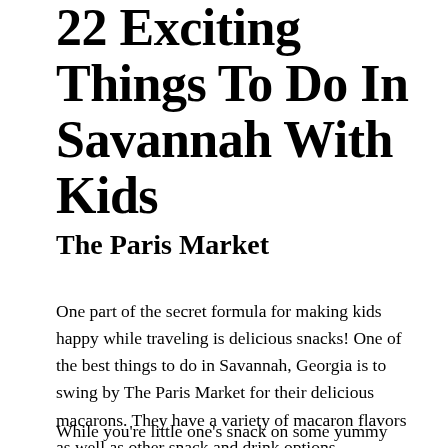22 Exciting Things To Do In Savannah With Kids
The Paris Market
One part of the secret formula for making kids happy while traveling is delicious snacks! One of the best things to do in Savannah, Georgia is to swing by The Paris Market for their delicious macarons. They have a variety of macaron flavors as well as other snack and drink options.
While you're little one's snack on some yummy food,